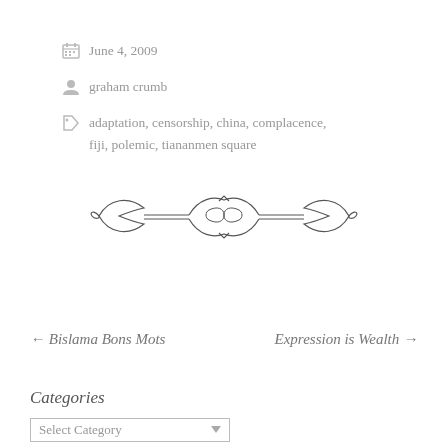June 4, 2009
graham crumb
adaptation, censorship, china, complacence, fiji, polemic, tiananmen square
[Figure (illustration): Decorative ornamental divider with scrollwork and floral motifs]
← Bislama Bons Mots
Expression is Wealth →
Categories
Select Category